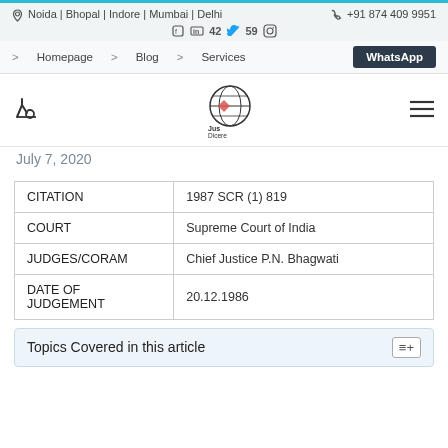Noida | Bhopal | Indore | Mumbai | Delhi  +91 874 409 9951
Homepage  Blog  Services  WhatsApp
[Figure (logo): Jus Dicere logo with globe icon]
July 7, 2020
| CITATION | COURT | JUDGES/CORAM | DATE OF JUDGEMENT |
| --- | --- | --- | --- |
| CITATION | 1987 SCR (1) 819 |
| COURT | Supreme Court of India |
| JUDGES/CORAM | Chief Justice P.N. Bhagwati |
| DATE OF JUDGEMENT | 20.12.1986 |
Topics Covered in this article